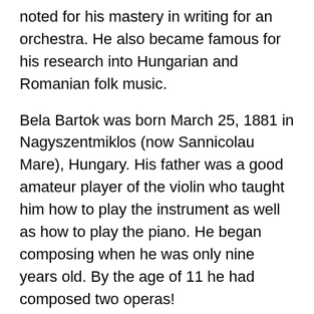noted for his mastery in writing for an orchestra. He also became famous for his research into Hungarian and Romanian folk music.
Bela Bartok was born March 25, 1881 in Nagyszentmiklos (now Sannicolau Mare), Hungary. His father was a good amateur player of the violin who taught him how to play the instrument as well as how to play the piano. He began composing when he was only nine years old. By the age of 11 he had composed two operas!
In 1895 he entered the Royal Academy of Music in Budapest where he studied piano with Istvan Thoman and composition with Jeno Hubay, both